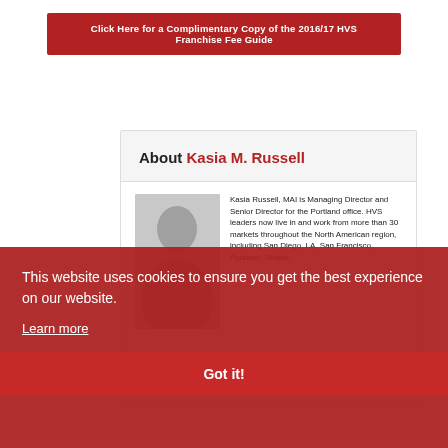[Figure (other): Red button banner: 'Click Here for a Complimentary Copy of the 2016/17 HVS Franchise Fee Guide']
About Kasia M. Russell
Kasia Russell, MAI is Managing Director and Senior Director for the Portland office. HVS leaders now live in and work from more than 30 markets throughout the North American region, including San Diego, LA, San Francisco, Portland, Seattle,
This website uses cookies to ensure you get the best experience on our website.
Learn more
Got it!